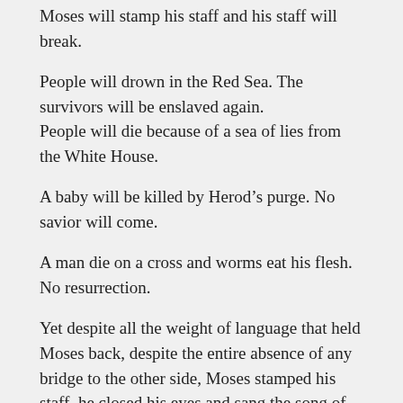Moses will stamp his staff and his staff will break.
People will drown in the Red Sea. The survivors will be enslaved again.
People will die because of a sea of lies from the White House.
A baby will be killed by Herod’s purge. No savior will come.
A man die on a cross and worms eat his flesh. No resurrection.
Yet despite all the weight of language that held Moses back, despite the entire absence of any bridge to the other side, Moses stamped his staff, he closed his eyes and sang the song of invocation, the qara Besem Yahweh.
Why did he do this? What rose in his heart beyond